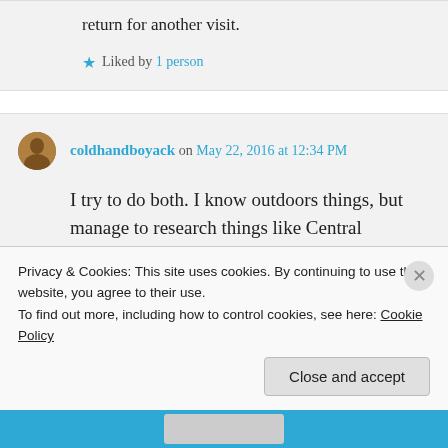return for another visit.
★ Liked by 1 person
coldhandboyack on May 22, 2016 at 12:34 PM
I try to do both. I know outdoors things, but manage to research things like Central American jungles.
★ Liked by 2 people
Privacy & Cookies: This site uses cookies. By continuing to use this website, you agree to their use.
To find out more, including how to control cookies, see here: Cookie Policy